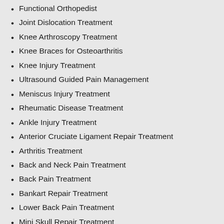Functional Orthopedist
Joint Dislocation Treatment
Knee Arthroscopy Treatment
Knee Braces for Osteoarthritis
Knee Injury Treatment
Ultrasound Guided Pain Management
Meniscus Injury Treatment
Rheumatic Disease Treatment
Ankle Injury Treatment
Anterior Cruciate Ligament Repair Treatment
Arthritis Treatment
Back and Neck Pain Treatment
Back Pain Treatment
Bankart Repair Treatment
Lower Back Pain Treatment
Mini Skull Repair Treatment
Muscular Diseases Treatment
Posterior Cruciate Ligament Repair Treatment
ACL Reconstruction
Gout Treatment
Graft Treatment
Hip Injury Treatment
Old Age Bone Fracture Treatment